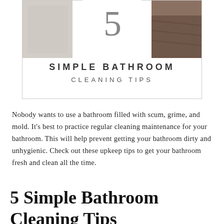[Figure (infographic): Header banner with a large numeral 5 in gray on a white circle, flanked by photos on left and right. Text reads 'SIMPLE BATHROOM' and 'CLEANING TIPS' in spaced uppercase letters inside a bordered box.]
Nobody wants to use a bathroom filled with scum, grime, and mold. It's best to practice regular cleaning maintenance for your bathroom. This will help prevent getting your bathroom dirty and unhygienic. Check out these upkeep tips to get your bathroom fresh and clean all the time.
5 Simple Bathroom Cleaning Tips